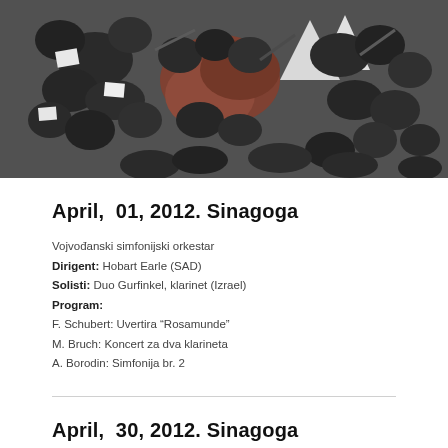[Figure (photo): Aerial/overhead view of an orchestra ensemble performing, musicians in black formal attire playing various instruments including clarinets, with sheet music stands visible.]
April,  01, 2012. Sinagoga
Vojvođanski simfonijski orkestar
Dirigent: Hobart Earle (SAD)
Solisti: Duo Gurfinkel, klarinet (Izrael)
Program:
F. Schubert: Uvertira "Rosamunde"
M. Bruch: Koncert za dva klarineta
A. Borodin: Simfonija br. 2
April,  30, 2012. Sinagoga
Vojvođanski simfonijski orkestar